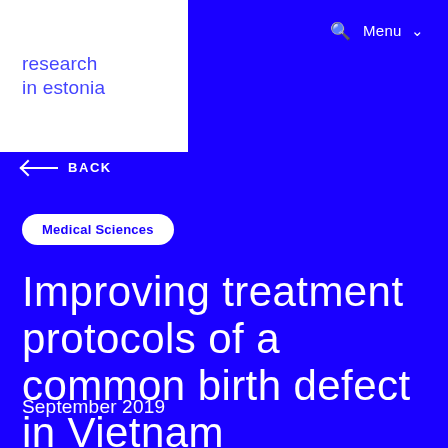🔍  Menu ∨
[Figure (logo): research in estonia logo — blue text on white background]
← BACK
Medical Sciences
Improving treatment protocols of a common birth defect in Vietnam
September 2019